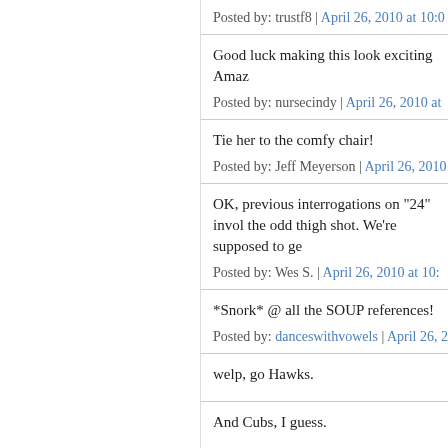Posted by: trustf8 | April 26, 2010 at 10:0[truncated]
Good luck making this look exciting Amaz[truncated]
Posted by: nursecindy | April 26, 2010 at [truncated]
Tie her to the comfy chair!
Posted by: Jeff Meyerson | April 26, 2010[truncated]
OK, previous interrogations on "24" invol[truncated] the odd thigh shot. We're supposed to ge[truncated]
Posted by: Wes S. | April 26, 2010 at 10:[truncated]
*Snork* @ all the SOUP references!
Posted by: danceswithvowels | April 26, 2[truncated]
welp, go Hawks.
And Cubs, I guess.